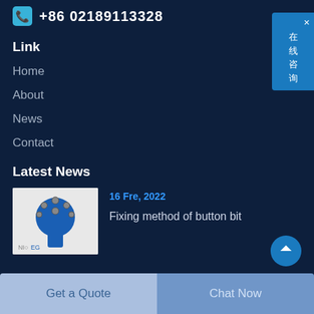+86 02189113328
Link
Home
About
News
Contact
Latest News
[Figure (photo): Blue button bit drill tool with carbide buttons on a white background with company logo watermark]
16 Fre, 2022
Fixing method of button bit
[Figure (other): Chinese online consultation chat widget showing 在线咨询]
Get a Quote | Chat Now